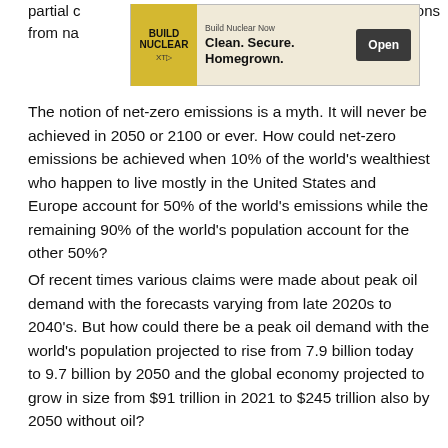partial c…ions from na…
[Figure (other): Advertisement banner: Build Nuclear Now — Clean. Secure. Homegrown. with Open button]
The notion of net-zero emissions is a myth. It will never be achieved in 2050 or 2100 or ever. How could net-zero emissions be achieved when 10% of the world's wealthiest who happen to live mostly in the United States and Europe account for 50% of the world's emissions while the remaining 90% of the world's population account for the other 50%?
Of recent times various claims were made about peak oil demand with the forecasts varying from late 2020s to 2040's. But how could there be a peak oil demand with the world's population projected to rise from 7.9 billion today to 9.7 billion by 2050 and the global economy projected to grow in size from $91 trillion in 2021 to $245 trillion also by 2050 without oil?